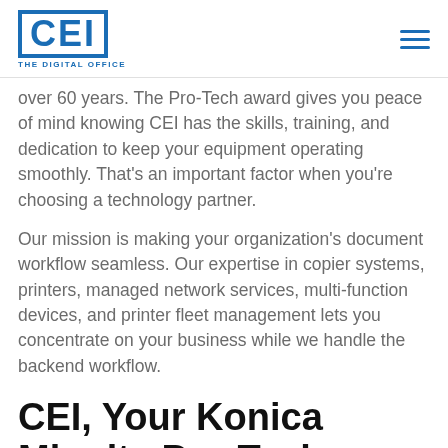CEI THE DIGITAL OFFICE
over 60 years. The Pro-Tech award gives you peace of mind knowing CEI has the skills, training, and dedication to keep your equipment operating smoothly. That’s an important factor when you’re choosing a technology partner.
Our mission is making your organization’s document workflow seamless. Our expertise in copier systems, printers, managed network services, multi-function devices, and printer fleet management lets you concentrate on your business while we handle the backend workflow.
CEI, Your Konica Minolta Pro-Tech Service Provider